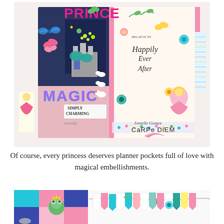[Figure (photo): A colorful princess-themed planner/journal open to show two pages filled with princess stickers, embellishments, castle, swans, flowers, butterflies, and text reading 'MAGIC', 'SIMPLY CHARMING', 'Believe in Happily Ever After'. Watermark reads 'Jomelle Gomez Carpe Diem'.]
Of course, every princess deserves planner pockets full of love with magical embellishments.
[Figure (photo): Close-up photo of princess-themed craft papers and embellishments showing colorful patterned papers with a frog prince sticker and banner/bunting decorations in pink, teal, and yellow.]